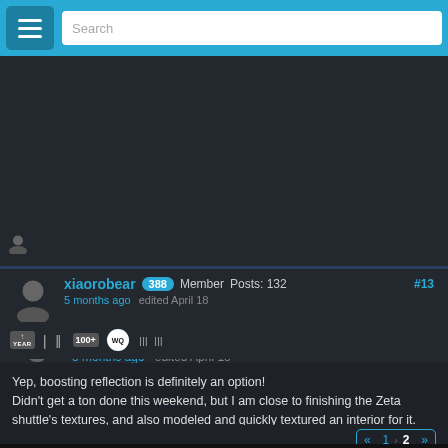Search
[Figure (screenshot): Dark forum banner area with user silhouette icon]
xiaorobear  388  Member  Posts: 132
5 months ago  edited April 18
#13
Yep, boosting reflection is definitely an option!
Didn't get a ton done this weekend, but I am close to finishing the Zeta shuttle's textures, and also modeled and quickly textured an interior for it. This model really isn't meant to hold up even as close as the lambda, but even though the cockpit is extremely simple, that added depth will really help it out in moving camera shots. 🙂
[Figure (screenshot): Dark bottom image area (forum post image)]